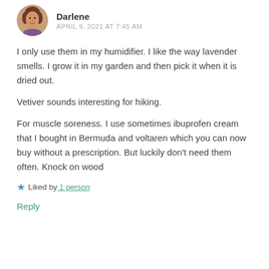Darlene
APRIL 9, 2021 AT 7:45 AM
I only use them in my humidifier. I like the way lavender smells. I grow it in my garden and then pick it when it is dried out.
Vetiver sounds interesting for hiking.
For muscle soreness. I use sometimes ibuprofen cream that I bought in Bermuda and voltaren which you can now buy without a prescription. But luckily don't need them often. Knock on wood
★ Liked by 1 person
Reply